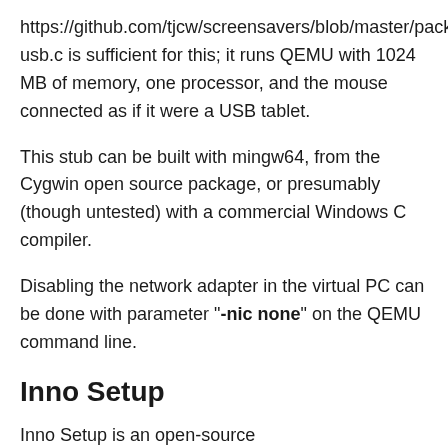https://github.com/tjcw/screensavers/blob/master/packaging/cr usb.c is sufficient for this; it runs QEMU with 1024 MB of memory, one processor, and the mouse connected as if it were a USB tablet.
This stub can be built with mingw64, from the Cygwin open source package, or presumably (though untested) with a commercial Windows C compiler.
Disabling the network adapter in the virtual PC can be done with parameter "-nic none" on the QEMU command line.
Inno Setup
Inno Setup is an open-source packaging/installation tool for Windows available here https://jrsoftware.org/isinfo.php . I used version 6.0 for this example. Packaging with Inno Setup results in a warning from Microsoft Defender when installing the screensaver; this warning can be overridden with 2 mouse